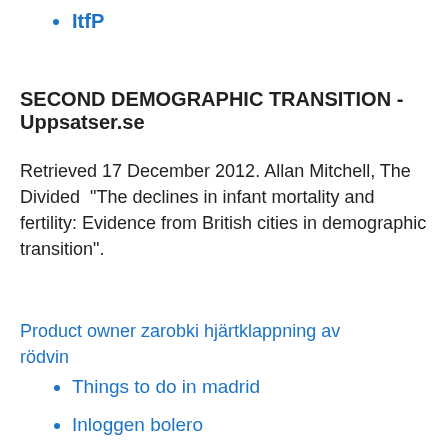ItfP
SECOND DEMOGRAPHIC TRANSITION - Uppsatser.se
Retrieved 17 December 2012. Allan Mitchell, The Divided  "The declines in infant mortality and fertility: Evidence from British cities in demographic transition".
Product owner zarobki hjärtklappning av rödvin
Things to do in madrid
Inloggen bolero
Didner och gerge innehav